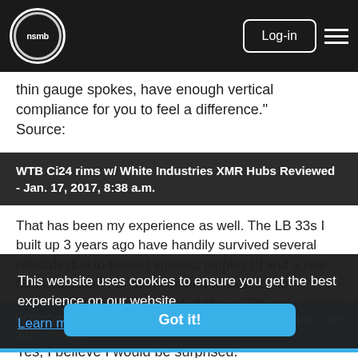NSMB logo | Log-in | Menu
thin gauge spokes, have enough vertical compliance for you to feel a difference."
Source:
WTB Ci24 rims w/ White Industries XMR Hubs Reviewed - Jan. 17, 2017, 8:38 a.m.
That has been my experience as well. The LB 33s I built up 3 years ago have handily survived several rebuilds due to busted spokes, nipples [!] and a rear hub implosion. For stiffness and resistance to damage, I'd put them ahead of Mavic 823, less ~200g per rim. The 3as on my DH bike have held up far better than many [rim-prone] wheels they've replaced.
This website uses cookies to ensure you get the best experience on our website.
Learn more
WTB Ci24 rims w/ White Industries XMR Hubs Reviewed - Jan. 17, 2017, 7:51 a.m.
Yes, I believe I would be surprised.